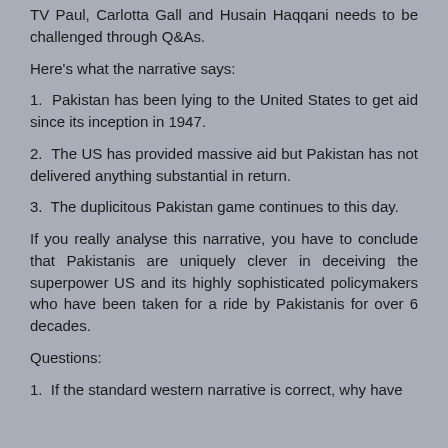TV Paul, Carlotta Gall and Husain Haqqani needs to be challenged through Q&As.
Here's what the narrative says:
1.  Pakistan has been lying to the United States to get aid since its inception in 1947.
2.  The US has provided massive aid but Pakistan has not delivered anything substantial in return.
3.  The duplicitous Pakistan game continues to this day.
If you really analyse this narrative, you have to conclude that Pakistanis are uniquely clever in deceiving the superpower US and its highly sophisticated policymakers who have been taken for a ride by Pakistanis for over 6 decades.
Questions:
1.  If the standard western narrative is correct, why have